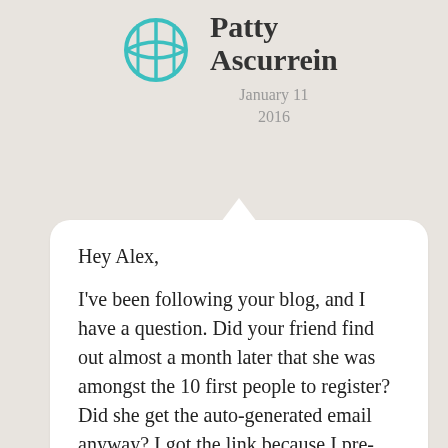Patty Ascurrein
January 11
2016
Hey Alex,

I've been following your blog, and I have a question. Did your friend find out almost a month later that she was amongst the 10 first people to register? Did she get the auto-generated email anyway? I got the link because I pre-registered already, however, I'm not sure if I got that I'm